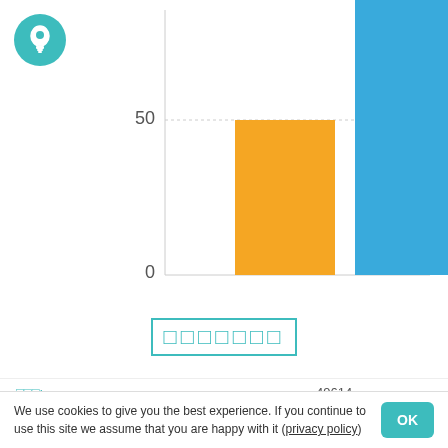[Figure (bar-chart): ]
□□□□□□□
□□□: 49614
□□□ 00000000 11000001 1100111...
We use cookies to give you the best experience. If you continue to use this site we assume that you are happy with it (privacy policy)